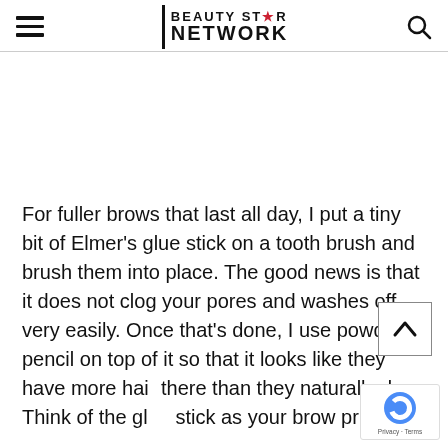BEAUTY STAR NETWORK
For fuller brows that last all day, I put a tiny bit of Elmer's glue stick on a tooth brush and brush them into place. The good news is that it does not clog your pores and washes off very easily. Once that's done, I use powder or pencil on top of it so that it looks like they have more hair there than they naturally do. Think of the glue stick as your brow primer.